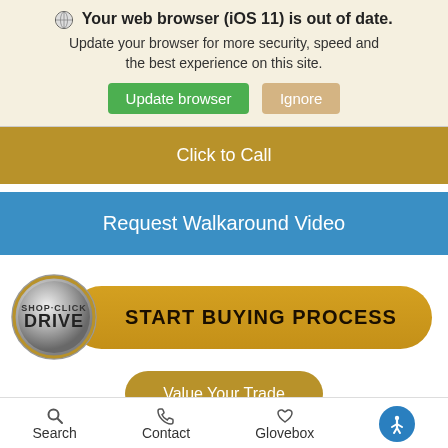Your web browser (iOS 11) is out of date. Update your browser for more security, speed and the best experience on this site.
[Figure (screenshot): Browser update warning banner with globe icon, Update browser button (green) and Ignore button (tan/beige)]
Click to Call
Request Walkaround Video
[Figure (logo): Shop-Click Drive metallic badge logo with golden rounded rectangle button reading START BUYING PROCESS]
Value Your Trade
Search  Contact  Glovebox  [Accessibility icon]